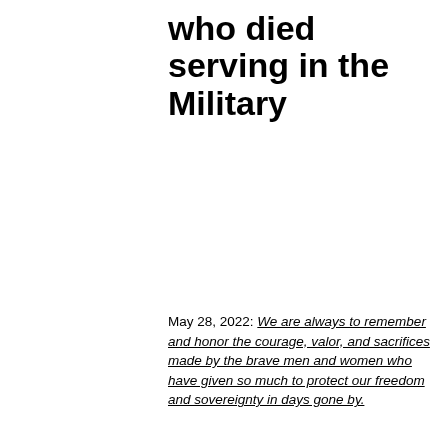who died serving in the Military
May 28, 2022: We are always to remember and honor the courage, valor, and sacrifices made by the brave men and women who have given so much to protect our freedom and sovereignty in days gone by.